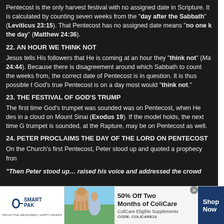Pentecost is the only harvest festival with no assigned date in Scripture. It is calculated by counting seven weeks from the "day after the Sabbath" (Leviticus 23:15). That Pentecost has no assigned date means "no one knows the day" (Matthew 24:36).
22. AN HOUR WE THINK NOT
Jesus tells His followers that He is coming at an hour they "think not" (Matthew 24:44). Because there is disagreement around which Sabbath to count the weeks from, the correct date of Pentecost is in question. It is thus possible that God's true Pentecost is on a day most would "think not."
23. THE FESTIVAL OF GOD'S TRUMP
The first time God's trumpet was sounded was on Pentecost, when He descended in a cloud on Mount Sinai (Exodus 19). If the model holds, the next time God's trumpet is sounded, at the Rapture, may be on Pentecost as well.
24. PETER PROCLAIMS THE DAY OF THE LORD ON PENTECOST
On the Church's first Pentecost, Peter stood up and quoted a prophecy from
"Then Peter stood up... raised his voice and addressed the crowd
[Figure (infographic): SmartPak advertisement: 50% Off Two Months of ColiCare, CODE: COLICARE10. Shows SmartPak logo, horse image, and Shop Now button.]